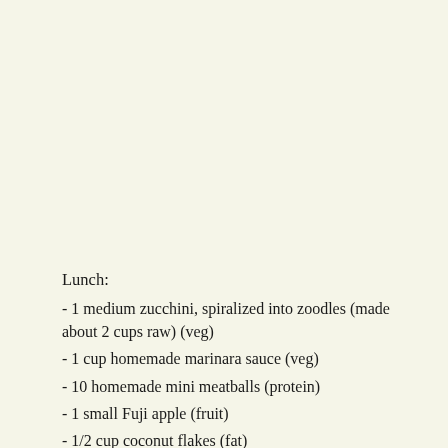Lunch:
- 1 medium zucchini, spiralized into zoodles (made about 2 cups raw) (veg)
- 1 cup homemade marinara sauce (veg)
- 10 homemade mini meatballs (protein)
- 1 small Fuji apple (fruit)
- 1/2 cup coconut flakes (fat)